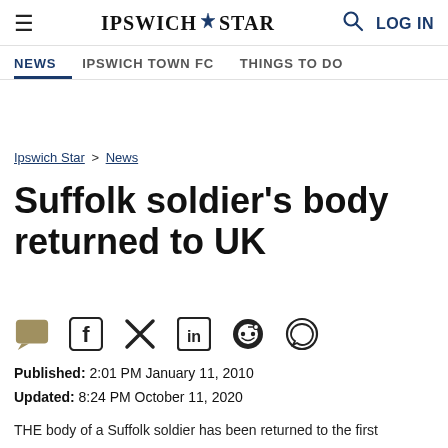IPSWICH STAR | NEWS | IPSWICH TOWN FC | THINGS TO DO | LOG IN
Ipswich Star > News
Suffolk soldier's body returned to UK
Social share icons: comment, Facebook, Twitter, LinkedIn, Reddit, WhatsApp
Published: 2:01 PM January 11, 2010
Updated: 8:24 PM October 11, 2020
THE body of a Suffolk soldier has been returned to the first...